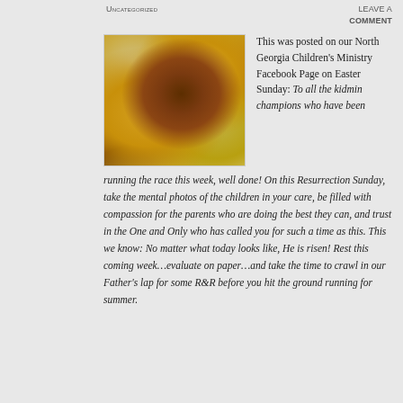POSTED BY DEES DEES HELP IN UNCATEGORIZED | LEAVE A COMMENT
[Figure (photo): Photo of chocolate Easter eggs wrapped in gold foil, one broken open showing the chocolate interior]
This was posted on our North Georgia Children's Ministry Facebook Page on Easter Sunday: To all the kidmin champions who have been running the race this week, well done! On this Resurrection Sunday, take the mental photos of the children in your care, be filled with compassion for the parents who are doing the best they can, and trust in the One and Only who has called you for such a time as this. This we know: No matter what today looks like, He is risen! Rest this coming week…evaluate on paper…and take the time to crawl in our Father's lap for some R&R before you hit the ground running for summer.